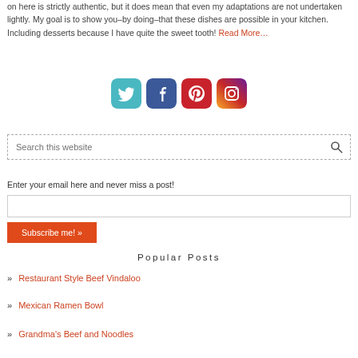on here is strictly authentic, but it does mean that even my adaptations are not undertaken lightly. My goal is to show you–by doing–that these dishes are possible in your kitchen. Including desserts because I have quite the sweet tooth! Read More…
[Figure (infographic): Four social media icon buttons: Twitter (teal), Facebook (blue), Pinterest (red), Instagram (color gradient)]
Search this website
Enter your email here and never miss a post!
Subscribe me! »
Popular Posts
Restaurant Style Beef Vindaloo
Mexican Ramen Bowl
Grandma's Beef and Noodles